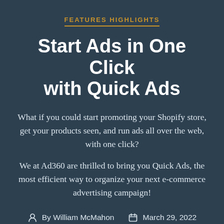FEATURES HIGHLIGHTS
Start Ads in One Click with Quick Ads
What if you could start promoting your Shopify store, get your products seen, and run ads all over the web, with one click?
We at Ad360 are thrilled to bring you Quick Ads, the most efficient way to organize your next e-commerce advertising campaign!
By William McMahon   March 29, 2022